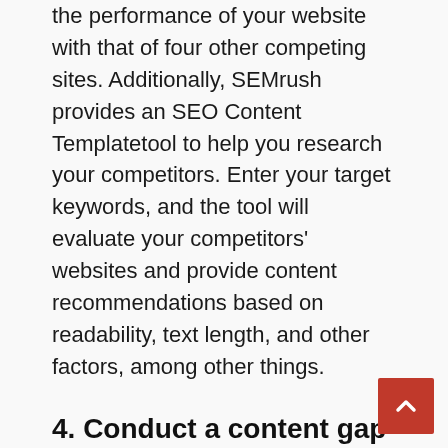the performance of your website with that of four other competing sites. Additionally, SEMrush provides an SEO Content Templatetool to help you research your competitors. Enter your target keywords, and the tool will evaluate your competitors' websites and provide content recommendations based on readability, text length, and other factors, among other things.
4. Conduct a content gap analysis.
While your content audit gives objective, quantitative data on how your site performs, your competitor audit acts as a point of comparison to identify areas where your site